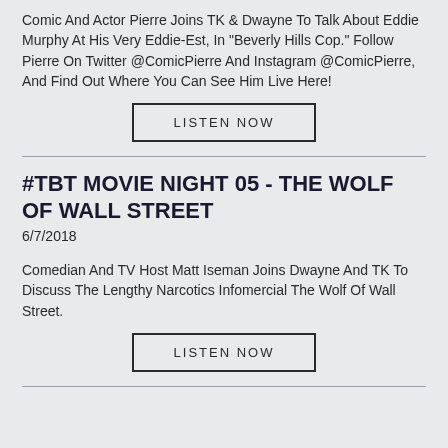Comic And Actor Pierre Joins TK & Dwayne To Talk About Eddie Murphy At His Very Eddie-Est, In "Beverly Hills Cop." Follow Pierre On Twitter @ComicPierre And Instagram @ComicPierre, And Find Out Where You Can See Him Live Here!
LISTEN NOW
#TBT MOVIE NIGHT 05 - THE WOLF OF WALL STREET
6/7/2018
Comedian And TV Host Matt Iseman Joins Dwayne And TK To Discuss The Lengthy Narcotics Infomercial The Wolf Of Wall Street.
LISTEN NOW